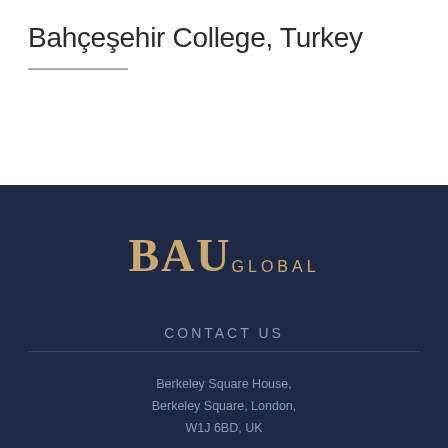Bahçeşehir College, Turkey
[Figure (logo): BAU GLOBAL logo in gold lettering on dark navy background]
CONTACT US
Berkeley Square House,
Berkeley Square, London,
W1J 6BD, UK
+44 20 3984 7382